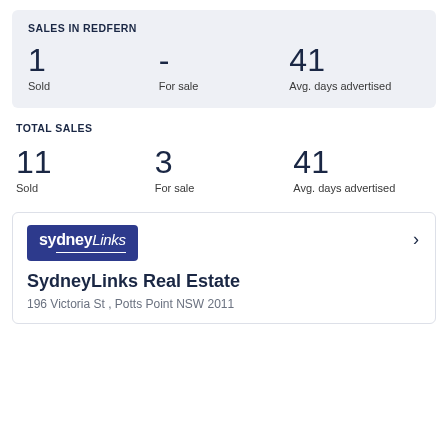SALES IN REDFERN
1 Sold
- For sale
41 Avg. days advertised
TOTAL SALES
11 Sold
3 For sale
41 Avg. days advertised
[Figure (logo): SydneyLinks real estate agency logo — blue rectangle with 'sydneyLinks' text in white]
SydneyLinks Real Estate
196 Victoria St , Potts Point NSW 2011